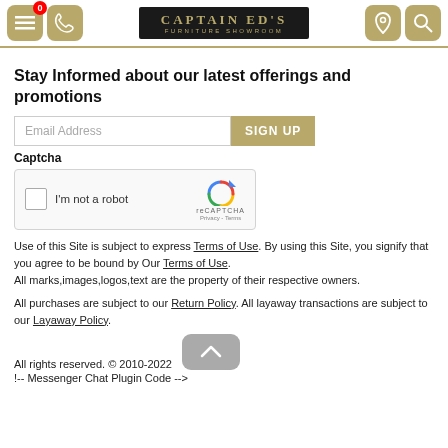Captain Ed's Furniture Showroom - navigation header
Stay Informed about our latest offerings and promotions
Email Address [input] SIGN UP
Captcha
[Figure (screenshot): reCAPTCHA widget with checkbox 'I'm not a robot' and reCAPTCHA logo with Privacy - Terms links]
Use of this Site is subject to express Terms of Use. By using this Site, you signify that you agree to be bound by Our Terms of Use.
All marks,images,logos,text are the property of their respective owners.
All purchases are subject to our Return Policy. All layaway transactions are subject to our Layaway Policy.
All rights reserved. © 2010-2022
!-- Messenger Chat Plugin Code -->